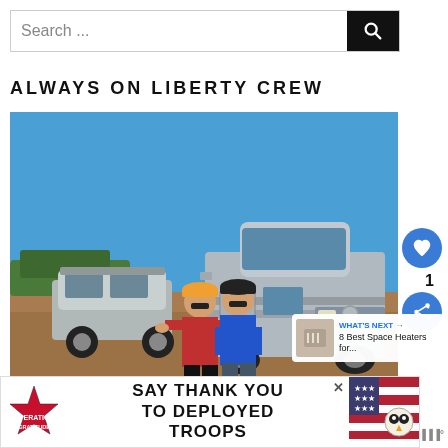Search ...
ALWAYS ON LIBERTY CREW
[Figure (photo): Two people standing in front of a silver Mercedes-Benz class C motorhome RV parked on dirt ground under a clear blue sky, with a silver Jeep Wrangler visible to the left.]
WHAT'S NEXT → 8 Best Space Heaters for...
SAY THANK YOU TO DEPLOYED TROOPS